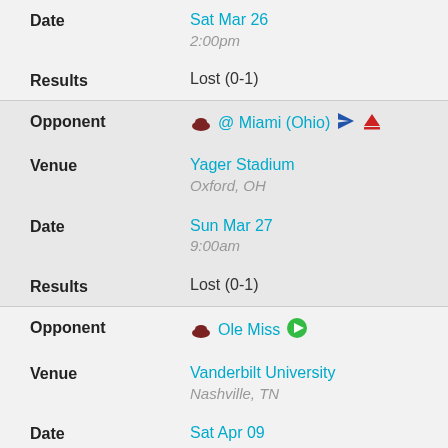Date: Sat Mar 26, 2:00pm
Results: Lost (0-1)
Opponent: @ Miami (Ohio)
Venue: Yager Stadium, Oxford, OH
Date: Sun Mar 27, 9:00am
Results: Lost (0-1)
Opponent: Ole Miss
Venue: Vanderbilt University, Nashville, TN
Date: Sat Apr 09, 10:30am